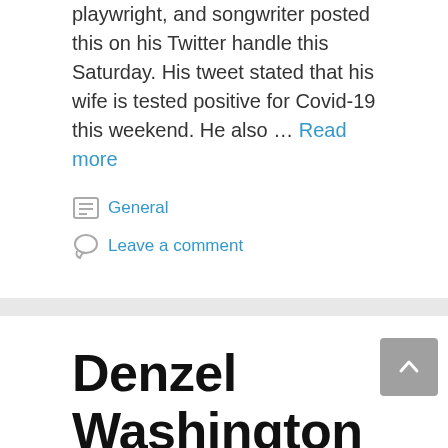playwright, and songwriter posted this on his Twitter handle this Saturday. His tweet stated that his wife is tested positive for Covid-19 this weekend. He also … Read more
General
Leave a comment
Denzel Washington Surprises Samuel L. Jackson at Governors Awards
March 20, 2020 by Pharma Chro...